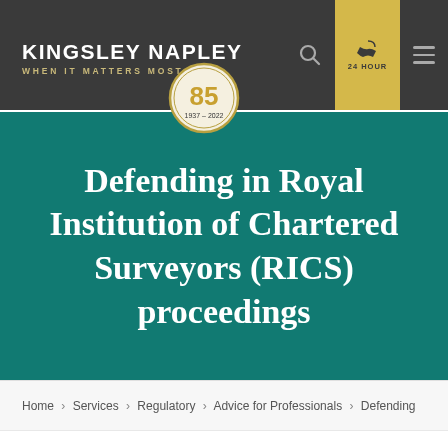KINGSLEY NAPLEY — WHEN IT MATTERS MOST
[Figure (logo): Kingsley Napley 85th anniversary badge (1937–2022), circular gold/dark logo]
Defending in Royal Institution of Chartered Surveyors (RICS) proceedings
Home › Services › Regulatory › Advice for Professionals › Defending